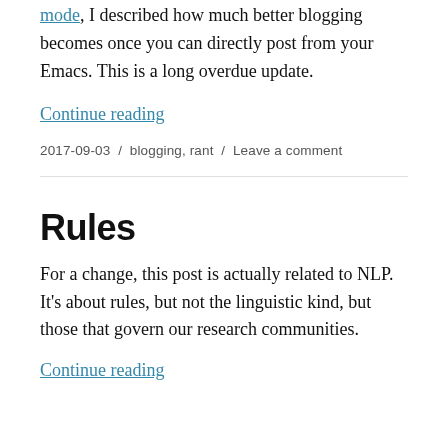mode, I described how much better blogging becomes once you can directly post from your Emacs. This is a long overdue update.
Continue reading
2017-09-03 / blogging, rant / Leave a comment
Rules
For a change, this post is actually related to NLP. It’s about rules, but not the linguistic kind, but those that govern our research communities.
Continue reading